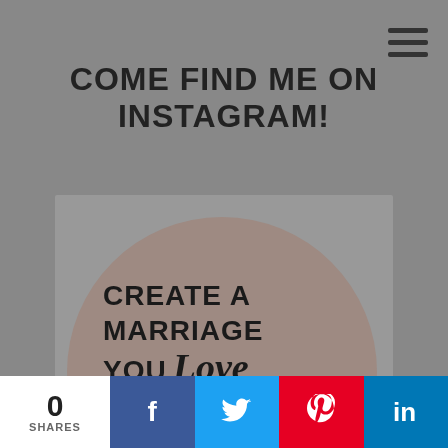COME FIND ME ON INSTAGRAM!
[Figure (illustration): Instagram card with a taupe circle containing the text: CREATE A MARRIAGE YOU Love WITH THE PARTNER YOU'VE got!]
0 SHARES
[Figure (infographic): Social share bar with Facebook, Twitter, Pinterest, and LinkedIn buttons]